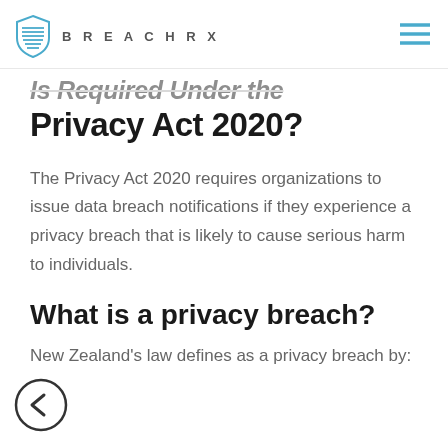BREACHRX
Is Required Under the Privacy Act 2020?
The Privacy Act 2020 requires organizations to issue data breach notifications if they experience a privacy breach that is likely to cause serious harm to individuals.
What is a privacy breach?
New Zealand's law defines as a privacy breach by: